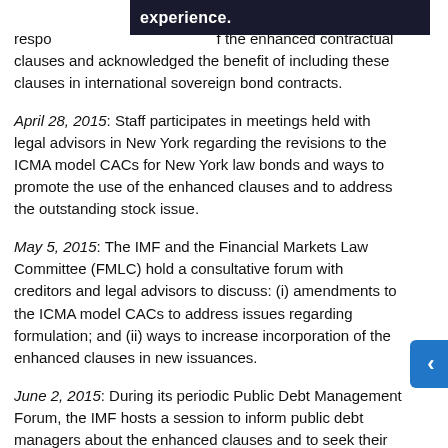experience.
respo... f the enhanced contractual clauses and acknowledged the benefit of including these clauses in international sovereign bond contracts.
April 28, 2015: Staff participates in meetings held with legal advisors in New York regarding the revisions to the ICMA model CACs for New York law bonds and ways to promote the use of the enhanced clauses and to address the outstanding stock issue.
May 5, 2015: The IMF and the Financial Markets Law Committee (FMLC) hold a consultative forum with creditors and legal advisors to discuss: (i) amendments to the ICMA model CACs to address issues regarding formulation; and (ii) ways to increase incorporation of the enhanced clauses in new issuances.
June 2, 2015: During its periodic Public Debt Management Forum, the IMF hosts a session to inform public debt managers about the enhanced clauses and to seek their views. The session was well-attended and received by public debt managers from a